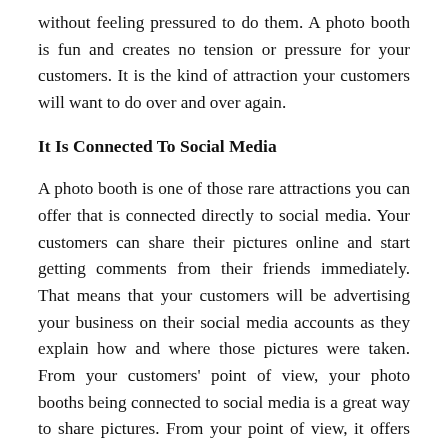without feeling pressured to do them. A photo booth is fun and creates no tension or pressure for your customers. It is the kind of attraction your customers will want to do over and over again.
It Is Connected To Social Media
A photo booth is one of those rare attractions you can offer that is connected directly to social media. Your customers can share their pictures online and start getting comments from their friends immediately. That means that your customers will be advertising your business on their social media accounts as they explain how and where those pictures were taken. From your customers' point of view, your photo booths being connected to social media is a great way to share pictures. From your point of view, it offers boundless marketing